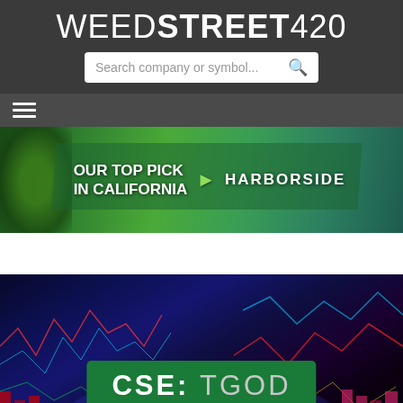WEEDSTREET420
Search company or symbol...
[Figure (screenshot): Hamburger menu icon (three horizontal lines)]
[Figure (photo): Cannabis plant banner with text 'OUR TOP PICK IN CALIFORNIA' and 'HARBORSIDE']
[Figure (infographic): Stock market chart background with text 'CSE: TGOD' in a green box]